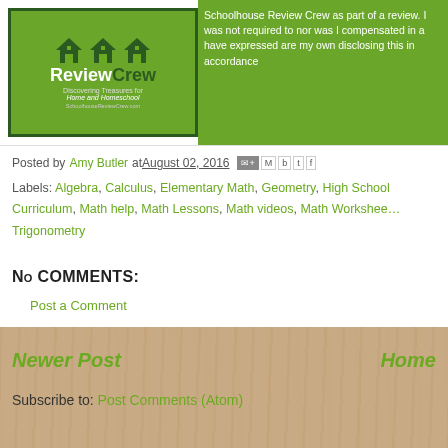[Figure (logo): Schoolhouse Review Crew logo - green badge with houses and text 'ReviewCrew Discovering Treasures for Home and Homeschool SchoolhouseReviewCrew.com']
Schoolhouse Review Crew as part of a review. I was not required to nor was I compensated in a have expressed are my own disclosing this in accordance
Posted by Amy Butler at August 02, 2016
Labels: Algebra, Calculus, Elementary Math, Geometry, High School Curriculum, Math help, Math Lessons, Math videos, Math Worksheets, Trigonometry
No comments:
Post a Comment
Newer Post
Home
Subscribe to: Post Comments (Atom)